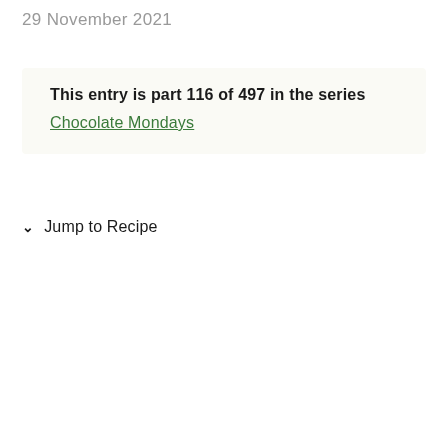29 November 2021
This entry is part 116 of 497 in the series Chocolate Mondays
Jump to Recipe